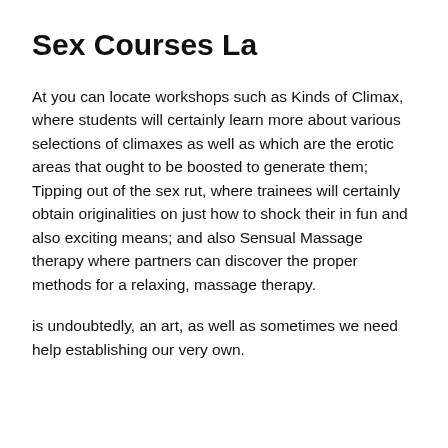Sex Courses La
At you can locate workshops such as Kinds of Climax, where students will certainly learn more about various selections of climaxes as well as which are the erotic areas that ought to be boosted to generate them; Tipping out of the sex rut, where trainees will certainly obtain originalities on just how to shock their in fun and also exciting means; and also Sensual Massage therapy where partners can discover the proper methods for a relaxing, massage therapy.
is undoubtedly, an art, as well as sometimes we need help establishing our very own.